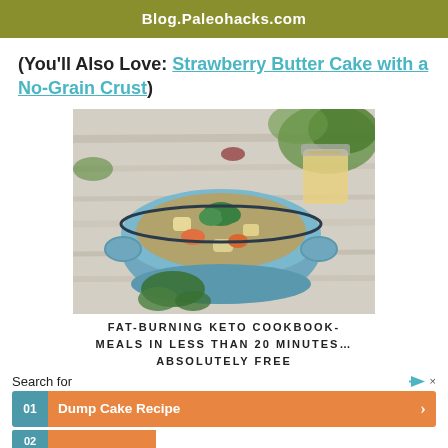Blog.Paleohacks.com
(You'll Also Love: Strawberry Butter Cake with a No-Grain Crust)
[Figure (photo): A blue ceramic pot/bowl filled with vegetable soup (chunks of potato, carrot, herbs) garnished with fresh parsley, on a wooden surface with a jar of mustard/sauce in background. Advertisement for Fat-Burning Keto Cookbook.]
FAT-BURNING KETO COOKBOOK- MEALS IN LESS THAN 20 MINUTES… ABSOLUTELY FREE
Search for
01  Dump Cake Recipe